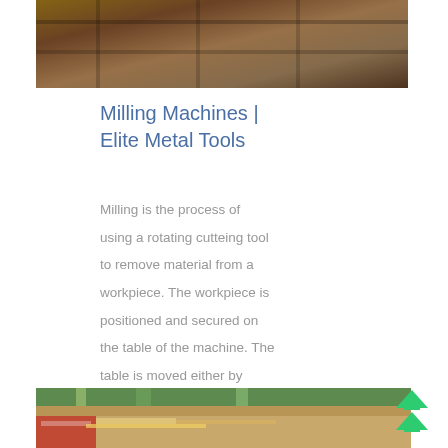[Figure (photo): Industrial metal structure or machinery viewed from above, showing metal frames and components]
Milling Machines | Elite Metal Tools
Milling is the process of using a rotating cutteing tool to remove material from a workpiece. The workpiece is positioned and secured on the table of the machine. The table is moved either by hand, with traverse and feed
[Figure (photo): Outdoor industrial facility or mining site with green fields, trees in background, machinery and conveyor systems in foreground]